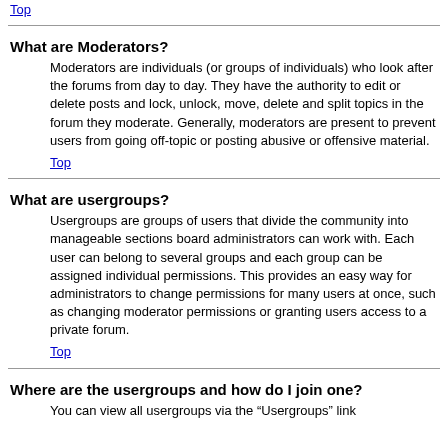Top
What are Moderators?
Moderators are individuals (or groups of individuals) who look after the forums from day to day. They have the authority to edit or delete posts and lock, unlock, move, delete and split topics in the forum they moderate. Generally, moderators are present to prevent users from going off-topic or posting abusive or offensive material.
Top
What are usergroups?
Usergroups are groups of users that divide the community into manageable sections board administrators can work with. Each user can belong to several groups and each group can be assigned individual permissions. This provides an easy way for administrators to change permissions for many users at once, such as changing moderator permissions or granting users access to a private forum.
Top
Where are the usergroups and how do I join one?
You can view all usergroups via the “Usergroups” link